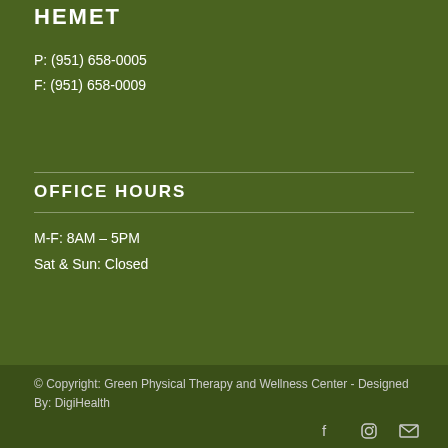HEMET
P: (951) 658-0005
F: (951) 658-0009
OFFICE HOURS
M-F: 8AM – 5PM
Sat & Sun: Closed
© Copyright: Green Physical Therapy and Wellness Center - Designed By: DigiHealth